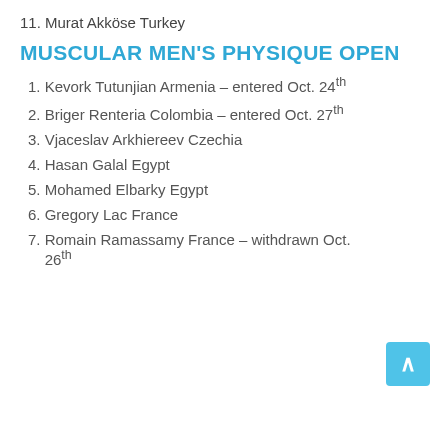11. Murat Akköse Turkey
MUSCULAR MEN'S PHYSIQUE OPEN
1. Kevork Tutunjian Armenia – entered Oct. 24th
2. Briger Renteria Colombia – entered Oct. 27th
3. Vjaceslav Arkhiereev Czechia
4. Hasan Galal Egypt
5. Mohamed Elbarky Egypt
6. Gregory Lac France
7. Romain Ramassamy France – withdrawn Oct. 26th